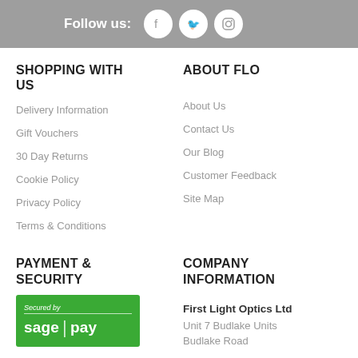Follow us:
SHOPPING WITH US
Delivery Information
Gift Vouchers
30 Day Returns
Cookie Policy
Privacy Policy
Terms & Conditions
ABOUT FLO
About Us
Contact Us
Our Blog
Customer Feedback
Site Map
PAYMENT & SECURITY
[Figure (logo): Secured by Sage Pay green logo]
COMPANY INFORMATION
First Light Optics Ltd
Unit 7 Budlake Units
Budlake Road